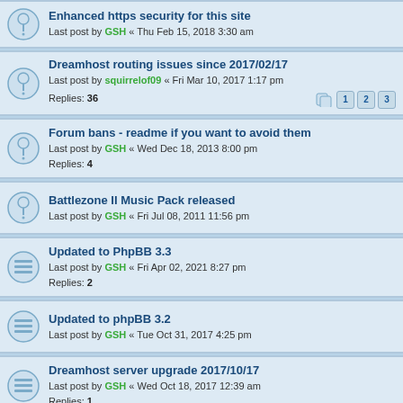Enhanced https security for this site — Last post by GSH « Thu Feb 15, 2018 3:30 am
Dreamhost routing issues since 2017/02/17 — Last post by squirrelof09 « Fri Mar 10, 2017 1:17 pm — Replies: 36
Forum bans - readme if you want to avoid them — Last post by GSH « Wed Dec 18, 2013 8:00 pm — Replies: 4
Battlezone II Music Pack released — Last post by GSH « Fri Jul 08, 2011 11:56 pm
Updated to PhpBB 3.3 — Last post by GSH « Fri Apr 02, 2021 8:27 pm — Replies: 2
Updated to phpBB 3.2 — Last post by GSH « Tue Oct 31, 2017 4:25 pm
Dreamhost server upgrade 2017/10/17 — Last post by GSH « Wed Oct 18, 2017 12:39 am — Replies: 1
PhpBB upgraded — Last post by GSH « Thu Oct 01, 2015 2:48 pm — Replies: 3
User registration disabled — Last post by GSH « Mon Dec 15, 2014 6:36 pm — Replies: 4
Dreamhost downtime Sun 2014/10/12 8-9PM PDT — Last post by GSH « Wed Oct 08, 2014 7:37 pm